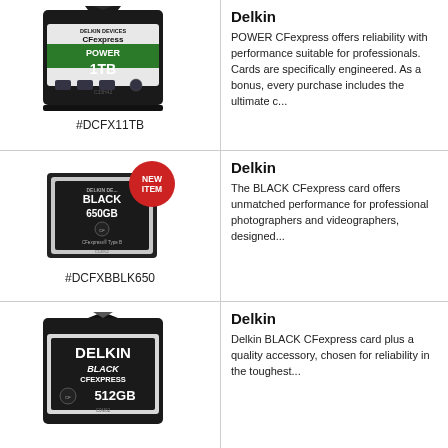[Figure (photo): Delkin Devices CFexpress POWER 1TB memory card, model #DCFX11TB, shown at an angle]
#DCFX11TB
Delkin POWER CFexpress card description — POWER CFexpress reliability with suitable specs for professional use. As a bonus, every purchase includes the ultimate c...
[Figure (photo): Delkin Devices BLACK CFexpress 650GB memory card with NEW ITEM badge, model #DCFXBBLK650]
#DCFXBBLK650
The BLACK CFexpress card offers unmatched performance for professional photographers, designed...
[Figure (photo): Delkin BLACK CFexpress 512GB memory card, partially visible]
Delkin BLACK CFexpress card plus a quality accessory, chosen for reliability in the toughest...